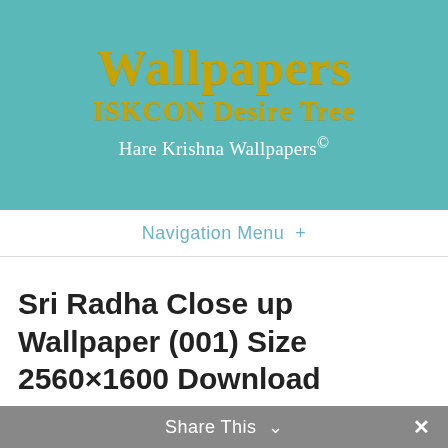Wallpapers
ISKCON Desire Tree
Hare Krishna Wallpapers©
Navigation Menu +
Sri Radha Close up Wallpaper (001) Size 2560×1600 Download
Posted in Downloads
Share This ∨